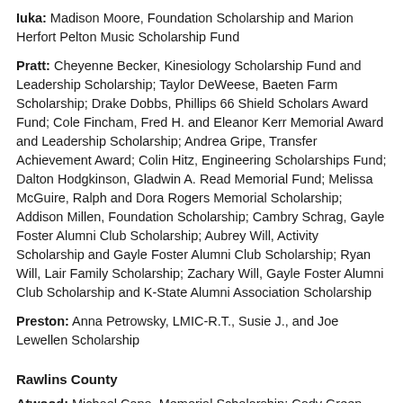Iuka: Madison Moore, Foundation Scholarship and Marion Herfort Pelton Music Scholarship Fund
Pratt: Cheyenne Becker, Kinesiology Scholarship Fund and Leadership Scholarship; Taylor DeWeese, Baeten Farm Scholarship; Drake Dobbs, Phillips 66 Shield Scholars Award Fund; Cole Fincham, Fred H. and Eleanor Kerr Memorial Award and Leadership Scholarship; Andrea Gripe, Transfer Achievement Award; Colin Hitz, Engineering Scholarships Fund; Dalton Hodgkinson, Gladwin A. Read Memorial Fund; Melissa McGuire, Ralph and Dora Rogers Memorial Scholarship; Addison Millen, Foundation Scholarship; Cambry Schrag, Gayle Foster Alumni Club Scholarship; Aubrey Will, Activity Scholarship and Gayle Foster Alumni Club Scholarship; Ryan Will, Lair Family Scholarship; Zachary Will, Gayle Foster Alumni Club Scholarship and K-State Alumni Association Scholarship
Preston: Anna Petrowsky, LMIC-R.T., Susie J., and Joe Lewellen Scholarship
Rawlins County
Atwood: Michael Capo, Memorial Scholarship; Cody Green, Transfer Achievement Award; Keshia Green, Achievement Award and First in Class Scholarship; Taylor Leitner, College of Education Alumni Scholarship and